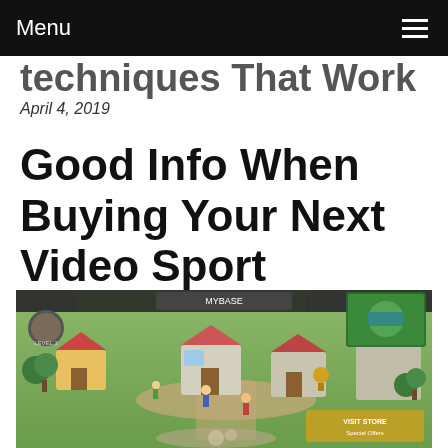Menu
techniques That Work
April 4, 2019
Good Info When Buying Your Next Video Sport
[Figure (screenshot): Screenshot of a mobile strategy/city-building video game showing an isometric village with buildings, trees, characters, and a HUD interface at the top.]